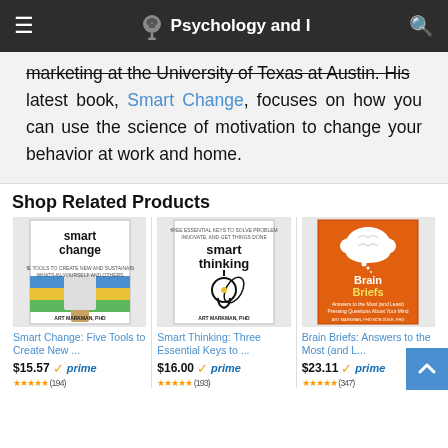Psychology and I
marketing at the University of Texas at Austin. His latest book, Smart Change, focuses on how you can use the science of motivation to change your behavior at work and home.
Shop Related Products
[Figure (photo): Book cover: Smart Change by Art Markman, PhD]
Smart Change: Five Tools to Create New ...
$15.57 prime (194)
[Figure (photo): Book cover: Smart Thinking by Art Markman, PhD]
Smart Thinking: Three Essential Keys to ...
$16.00 prime (193)
[Figure (photo): Book cover: Brain Briefs - orange cover with brain thought bubble]
Brain Briefs: Answers to the Most (and L...
$23.11 prime (347)